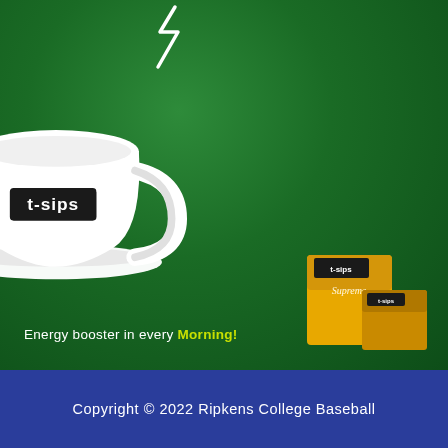[Figure (illustration): T-sips tea brand advertisement on green background. A large white teacup with saucer sits center, with a lightning bolt steam symbol above it. The cup has a black label reading 't-sips'. Bottom left shows tagline 'Energy booster in every Morning!' with 'Morning!' in yellow-green. Bottom right shows product boxes (yellow t-sips tea boxes).]
Energy booster in every Morning!
Copyright © 2022 Ripkens College Baseball